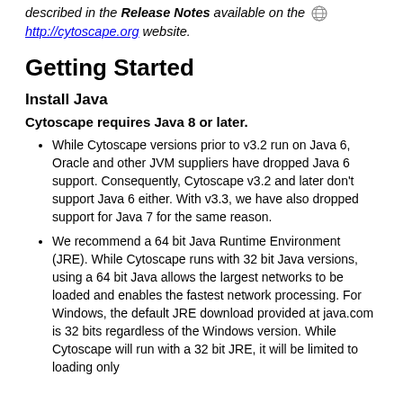described in the Release Notes available on the [globe icon] http://cytoscape.org website.
Getting Started
Install Java
Cytoscape requires Java 8 or later.
While Cytoscape versions prior to v3.2 run on Java 6, Oracle and other JVM suppliers have dropped Java 6 support. Consequently, Cytoscape v3.2 and later don't support Java 6 either. With v3.3, we have also dropped support for Java 7 for the same reason.
We recommend a 64 bit Java Runtime Environment (JRE). While Cytoscape runs with 32 bit Java versions, using a 64 bit Java allows the largest networks to be loaded and enables the fastest network processing. For Windows, the default JRE download provided at java.com is 32 bits regardless of the Windows version. While Cytoscape will run with a 32 bit JRE, it will be limited to loading only